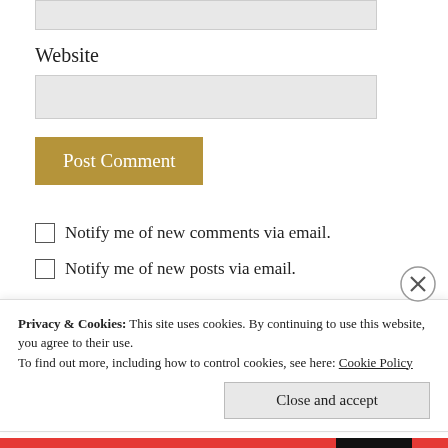[input field top]
Website
[website input field]
Post Comment
Notify me of new comments via email.
Notify me of new posts via email.
This site uses Akismet to reduce spam. Learn how
Privacy & Cookies: This site uses cookies. By continuing to use this website, you agree to their use.
To find out more, including how to control cookies, see here: Cookie Policy
Close and accept